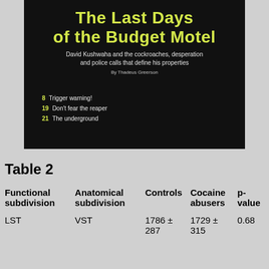[Figure (photo): Magazine cover for 'The Last Days of the Budget Motel' by Thadeus Greerson, black background with yellow title text, subtitle and table of contents items]
Table 2
| Functional subdivision | Anatomical subdivision | Controls | Cocaine abusers | p-value |
| --- | --- | --- | --- | --- |
| LST | VST | 1786 ± 287 | 1729 ± 315 | 0.68 |